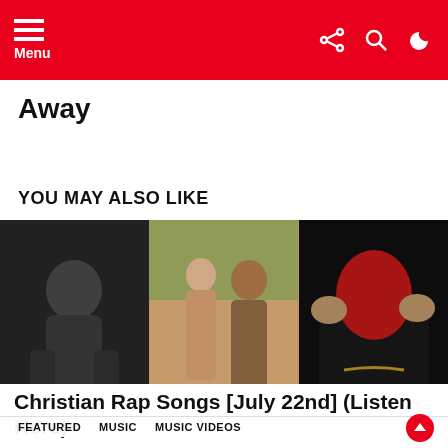Menu
Away
YOU MAY ALSO LIKE
[Figure (photo): Three-panel composite photo: left panel shows a black-and-white photo of a male artist looking down; center panel shows two men standing outdoors in casual clothing; right panel shows a person wearing a red ski mask holding their head with both hands.]
FEATURED   MUSIC   MUSIC VIDEOS
Christian Rap Songs [July 22nd] (Listen Here)